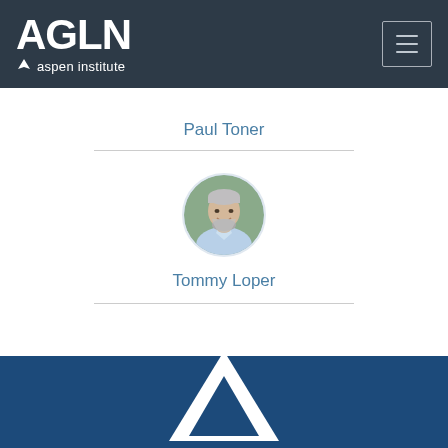AGLN aspen institute
Paul Toner
[Figure (photo): Circular profile photo of Tommy Loper, a middle-aged man with grey hair and a beard, smiling, wearing a light blue shirt]
Tommy Loper
[Figure (logo): Aspen Institute mountain/leaf logo in white on dark blue background at page footer]